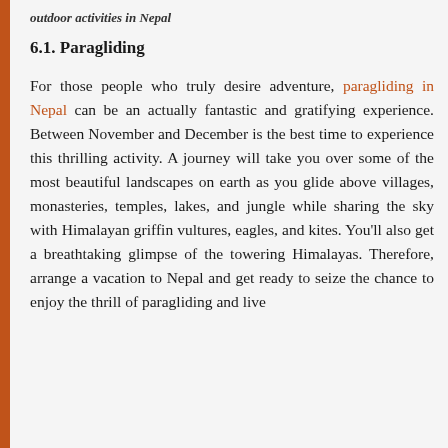outdoor activities in Nepal
6.1. Paragliding
For those people who truly desire adventure, paragliding in Nepal can be an actually fantastic and gratifying experience. Between November and December is the best time to experience this thrilling activity. A journey will take you over some of the most beautiful landscapes on earth as you glide above villages, monasteries, temples, lakes, and jungle while sharing the sky with Himalayan griffin vultures, eagles, and kites. You'll also get a breathtaking glimpse of the towering Himalayas. Therefore, arrange a vacation to Nepal and get ready to seize the chance to enjoy the thrill of paragliding and live